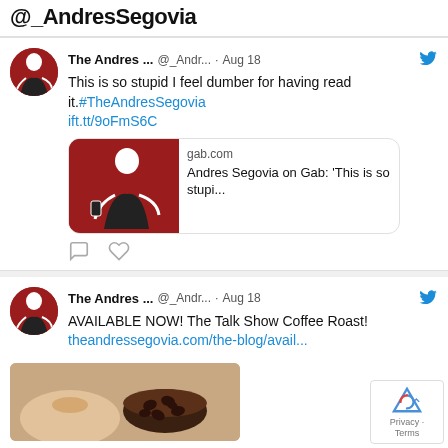@_AndresSegovia
The Andres ... @_Andr... · Aug 18
This is so stupid I feel dumber for having read it.#TheAndresSegovia ift.tt/9oFmS6C
[Figure (screenshot): Link card showing gab.com — Andres Segovia on Gab: 'This is so stupi...']
The Andres ... @_Andr... · Aug 18
AVAILABLE NOW! The Talk Show Coffee Roast!
theandressegovia.com/the-blog/avail...
[Figure (photo): Photo of a hand holding a cup of coffee beans]